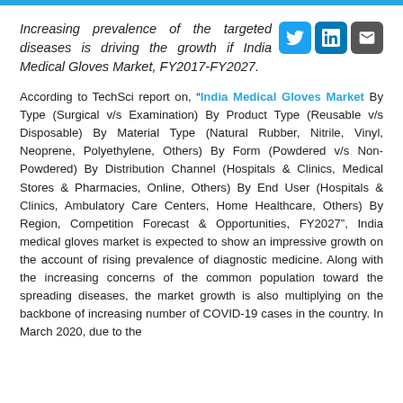Increasing prevalence of the targeted diseases is driving the growth if India Medical Gloves Market, FY2017-FY2027.
According to TechSci report on, "India Medical Gloves Market By Type (Surgical v/s Examination) By Product Type (Reusable v/s Disposable) By Material Type (Natural Rubber, Nitrile, Vinyl, Neoprene, Polyethylene, Others) By Form (Powdered v/s Non-Powdered) By Distribution Channel (Hospitals & Clinics, Medical Stores & Pharmacies, Online, Others) By End User (Hospitals & Clinics, Ambulatory Care Centers, Home Healthcare, Others) By Region, Competition Forecast & Opportunities, FY2027", India medical gloves market is expected to show an impressive growth on the account of rising prevalence of diagnostic medicine. Along with the increasing concerns of the common population toward the spreading diseases, the market growth is also multiplying on the backbone of increasing number of COVID-19 cases in the country. In March 2020, due to the